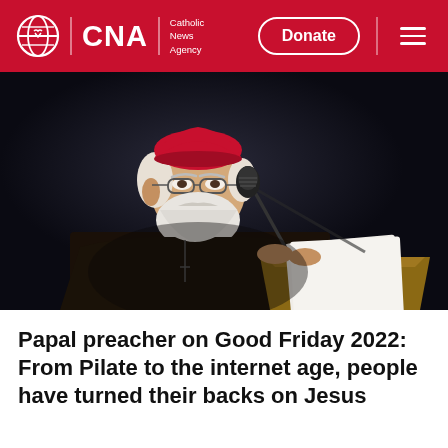CNA | Catholic News Agency
[Figure (photo): An elderly cardinal wearing a red zucchetto and dark Franciscan habit speaks at a podium with a microphone, holding papers, against a dark background.]
Papal preacher on Good Friday 2022: From Pilate to the internet age, people have turned their backs on Jesus